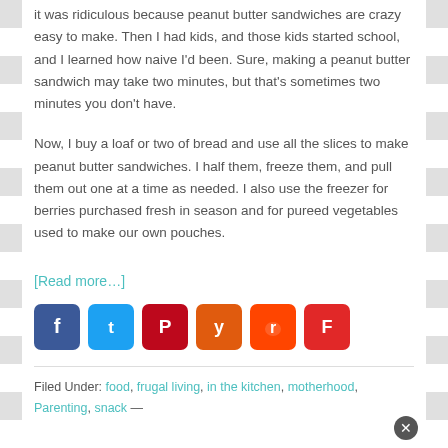it was ridiculous because peanut butter sandwiches are crazy easy to make. Then I had kids, and those kids started school, and I learned how naive I'd been. Sure, making a peanut butter sandwich may take two minutes, but that's sometimes two minutes you don't have.
Now, I buy a loaf or two of bread and use all the slices to make peanut butter sandwiches. I half them, freeze them, and pull them out one at a time as needed. I also use the freezer for berries purchased fresh in season and for pureed vegetables used to make our own pouches.
[Read more…]
[Figure (other): Social sharing icons: Facebook, Twitter, Pinterest, Yummly, Reddit, Flipboard]
Filed Under: food, frugal living, in the kitchen, motherhood, Parenting, snack —